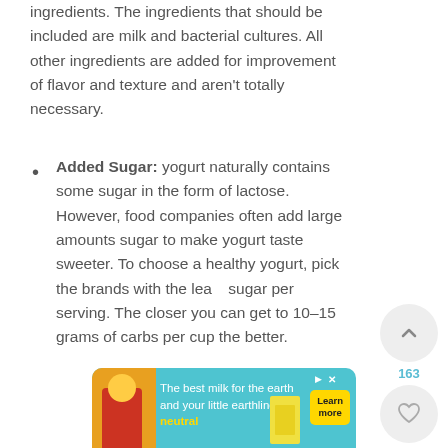ingredients. The ingredients that should be included are milk and bacterial cultures. All other ingredients are added for improvement of flavor and texture and aren't totally necessary.
Added Sugar: yogurt naturally contains some sugar in the form of lactose. However, food companies often add large amounts sugar to make yogurt taste sweeter. To choose a healthy yogurt, pick the brands with the least sugar per serving. The closer you can get to 10-15 grams of carbs per cup the better.
[Figure (other): Advertisement banner: The best milk for the earth and your little earthling. neutral brand. Learn more button.]